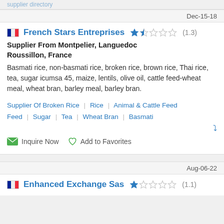Dec-15-18
French Stars Entreprises ★☆☆☆☆ (1.3)
Supplier From Montpelier, Languedoc Roussillon, France
Basmati rice, non-basmati rice, broken rice, brown rice, Thai rice, tea, sugar icumsa 45, maize, lentils, olive oil, cattle feed-wheat meal, wheat bran, barley meal, barley bran.
Supplier Of Broken Rice | Rice | Animal & Cattle Feed | Sugar | Tea | Wheat Bran | Basmati
Inquire Now   Add to Favorites
Aug-06-22
Enhanced Exchange Sas ★☆☆☆☆ (1.1)